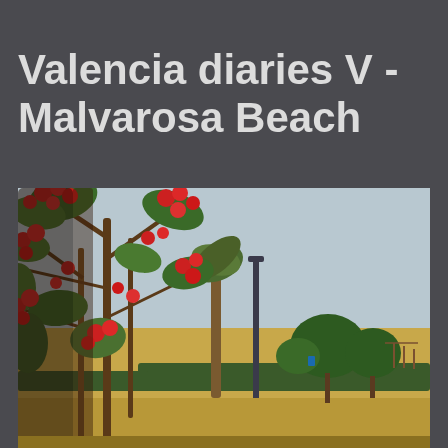Valencia diaries V - Malvarosa Beach
[Figure (photo): Outdoor scene at Malvarosa Beach in Valencia, Spain. Foreground shows red flowering oleander bushes and green foliage. Background shows a sandy beach, light blue-grey sky, green trees, a dark street lamp pole, and beach umbrella structures in the far right. A low green hedge runs across the mid-ground.]